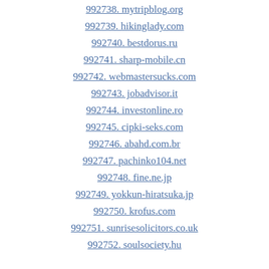992738. mytripblog.org
992739. hikinglady.com
992740. bestdorus.ru
992741. sharp-mobile.cn
992742. webmastersucks.com
992743. jobadvisor.it
992744. investonline.ro
992745. cipki-seks.com
992746. abahd.com.br
992747. pachinko104.net
992748. fine.ne.jp
992749. yokkun-hiratsuka.jp
992750. krofus.com
992751. sunrisesolicitors.co.uk
992752. soulsociety.hu